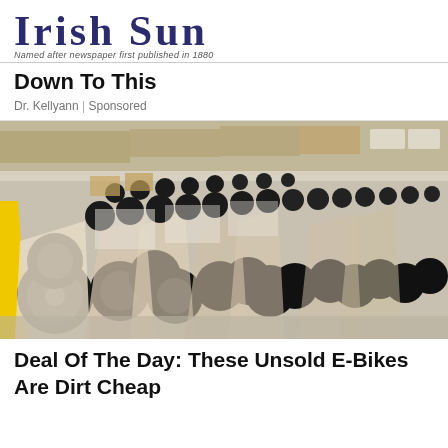IRISH SUN
Named after newspaper first published in 1880
Down To This
Dr. Kellyann | Sponsored
[Figure (photo): Warehouse filled with rows of packaged bicycles/e-bikes stored on a large floor, with yellow line visible on left side.]
Deal Of The Day: These Unsold E-Bikes Are Dirt Cheap